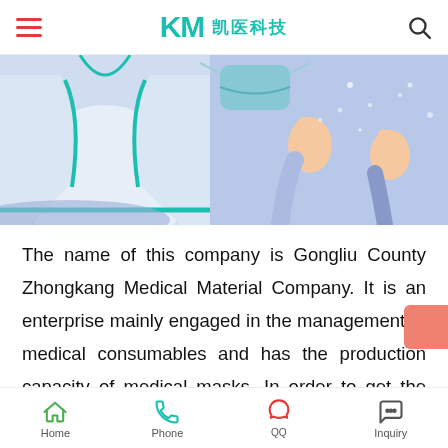KM 凯医科技
[Figure (illustration): Medical illustration showing a doctor's coat on the left and hands giving thumbs up on the right, in a light blue/purple color scheme]
The name of this company is Gongliu County Zhongkang Medical Material Company. It is an enterprise mainly engaged in the management of medical consumables and has the production capacity of medical masks. In order to get the company into production as soon as possible, on the afternoon of January 25, the Autonomous
Home | Phone | QQ | Inquiry